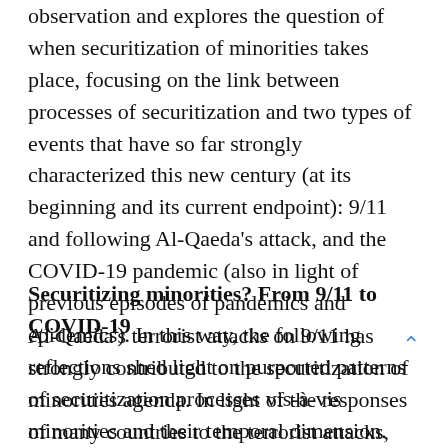observation and explores the question of when securitization of minorities takes place, focusing on the link between processes of securitization and two types of events that have so far strongly characterized this new century (at its beginning and its current endpoint): 9/11 and following Al-Qaeda's attack, and the COVID-19 pandemic (also in light of previous episodes of pandemics and epidemics). In this way, the following reflections shed light on purported patterns of securitization processes vis-à-vis minorities and their temporal dimension.
Securitizing minorities? From 9/11 to COVID-19
Al-Qaeda's terrorist attacks on 9/11 has strongly contributed to the securitization of minorities agenda. In light of the responses of many countries to the terrorist attacks, first of all the US, there has been a